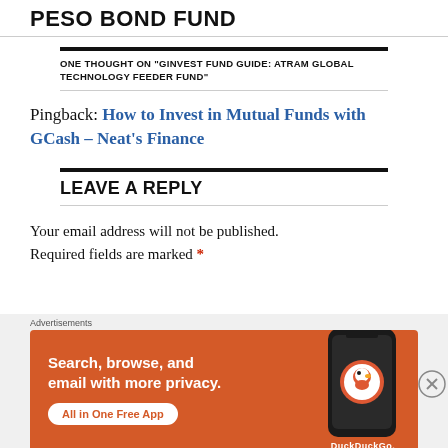PESO BOND FUND
ONE THOUGHT ON "GINVEST FUND GUIDE: ATRAM GLOBAL TECHNOLOGY FEEDER FUND"
Pingback: How to Invest in Mutual Funds with GCash – Neat's Finance
LEAVE A REPLY
Your email address will not be published. Required fields are marked *
[Figure (infographic): DuckDuckGo advertisement banner with orange background. Text reads: Search, browse, and email with more privacy. All in One Free App. Shows a smartphone with DuckDuckGo logo.]